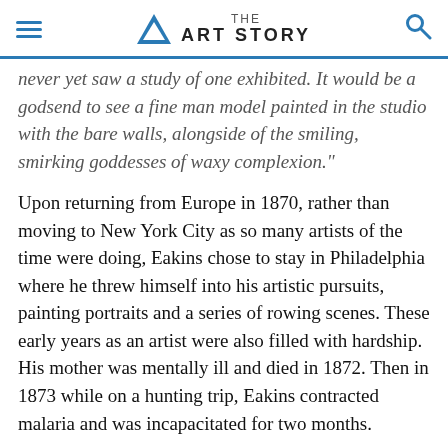THE ART STORY
never yet saw a study of one exhibited. It would be a godsend to see a fine man model painted in the studio with the bare walls, alongside of the smiling, smirking goddesses of waxy complexion."
Upon returning from Europe in 1870, rather than moving to New York City as so many artists of the time were doing, Eakins chose to stay in Philadelphia where he threw himself into his artistic pursuits, painting portraits and a series of rowing scenes. These early years as an artist were also filled with hardship. His mother was mentally ill and died in 1872. Then in 1873 while on a hunting trip, Eakins contracted malaria and was incapacitated for two months.
Quickly his portraiture work began to garner him attention, although it was not always well received as was the case with on... (1875) ... 1877